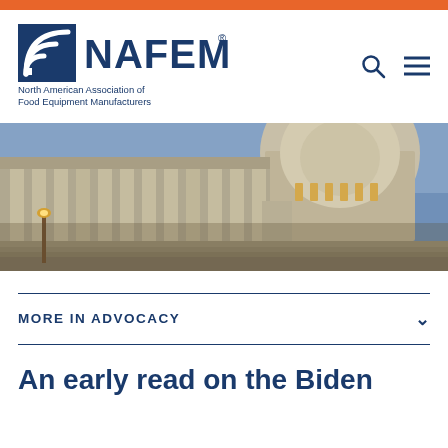NAFEM — North American Association of Food Equipment Manufacturers
[Figure (photo): Photo of the United States Capitol building exterior at dusk, showing classical columns and the dome lit with warm light, against a blue sky.]
MORE IN ADVOCACY
An early read on the Biden